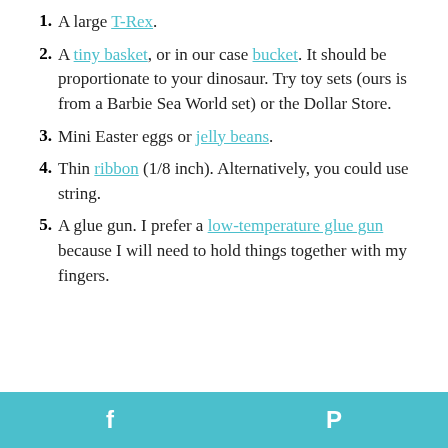1. A large T-Rex.
2. A tiny basket, or in our case bucket. It should be proportionate to your dinosaur. Try toy sets (ours is from a Barbie Sea World set) or the Dollar Store.
3. Mini Easter eggs or jelly beans.
4. Thin ribbon (1/8 inch). Alternatively, you could use string.
5. A glue gun. I prefer a low-temperature glue gun because I will need to hold things together with my fingers.
f  P